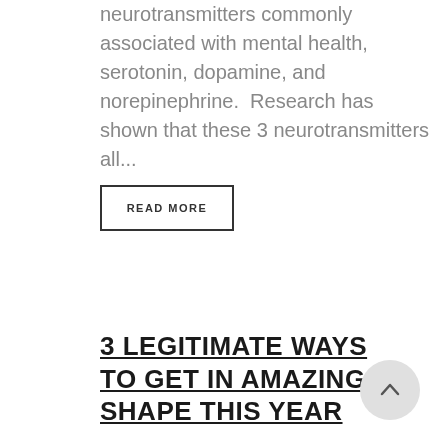neurotransmitters commonly associated with mental health, serotonin, dopamine, and norepinephrine.  Research has shown that these 3 neurotransmitters all...
READ MORE
3 LEGITIMATE WAYS TO GET IN AMAZING SHAPE THIS YEAR